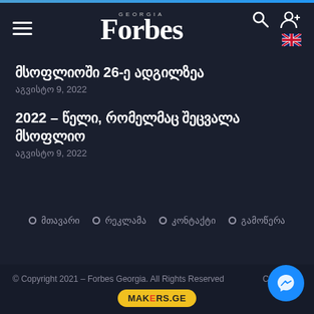Forbes Georgia
მსოფლიოში 26-ე ადგილზეა
აგვისტო 9, 2022
2022 – წელი, რომელმაც შეცვალა მსოფლიო
აგვისტო 9, 2022
მთავარი  •  რეკლამა  •  კონტაქტი  •  გამოწერა
© Copyright 2021 – Forbes Georgia. All Rights Reserved   Created in   MAKERS.GE